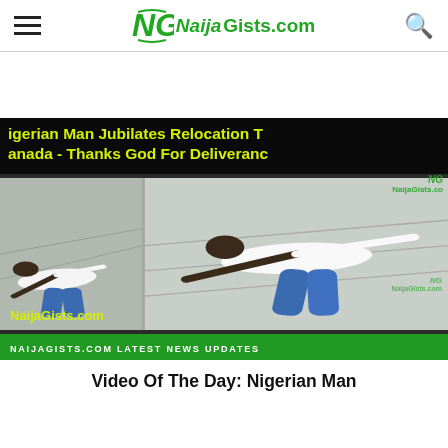NaijaGists.com
[Figure (screenshot): Video thumbnail showing a Nigerian man lying on the ground celebrating relocation to Canada, with text overlay 'Nigerian Man Jubilates Relocation To Canada - Thanks God For Deliverance' and NaijaGists.com watermarks. Split screen showing two frames of the man in white shirt and blue jeans on the ground.]
Video Of The Day: Nigerian Man